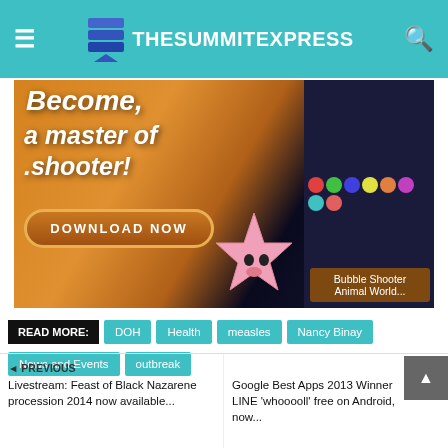TheSummitExpress
[Figure (screenshot): Advertisement for Bubble Shooter Animal World mobile game. Text reads 'Become a master of shooter!' with a 'DOWNLOAD NOW' button. Shows colorful bubble shooter game screenshots and a pink starfish character.]
READ MORE: DOH  Health  measles  Nancy Binay  News and Events  outbreak
◄ PREVIOUS
Livestream: Feast of Black Nazarene procession 2014 now available...
Google Best Apps 2013 Winner LINE 'whooooll' free on Android, now...